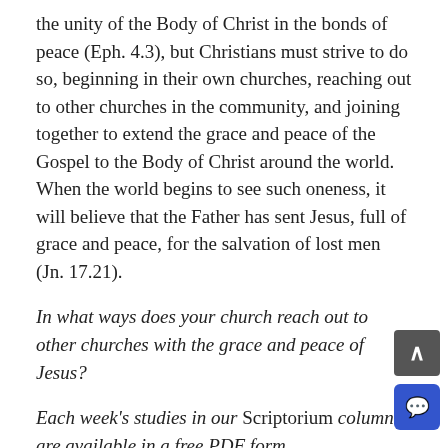the unity of the Body of Christ in the bonds of peace (Eph. 4.3), but Christians must strive to do so, beginning in their own churches, reaching out to other churches in the community, and joining together to extend the grace and peace of the Gospel to the Body of Christ around the world. When the world begins to see such oneness, it will believe that the Father has sent Jesus, full of grace and peace, for the salvation of lost men (Jn. 17.21).
In what ways does your church reach out to other churches with the grace and peace of Jesus?
Each week's studies in our Scriptorium column are available in a free PDF form,